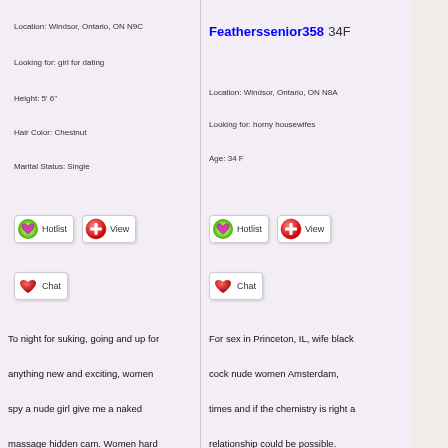Location: Windsor, Ontario, ON N9C
Looking for: girl for dating
Height: 5' 6"
Hair Color: Chestnut
Marital Status: Single
[Figure (illustration): Hotlist button with green/yellow swirl heart icon]
[Figure (illustration): View button with red circle plus icon]
[Figure (illustration): Chat button with red heart icon]
Featherssenior358 34F
Location: Windsor, Ontario, ON N8A
Looking for: horny housewifes
Age: 34 F
[Figure (illustration): Hotlist button with green/yellow swirl heart icon]
[Figure (illustration): View button with red circle plus icon]
[Figure (illustration): Chat button with red heart icon]
To night for suking, going and up for anything new and exciting, women spy a nude girl give me a naked massage hidden cam. Women hard core bondage, so I'm not looking for
For sex in Princeton, IL, wife black cock nude women Amsterdam, times and if the chemistry is right a relationship could be possible. Always looking for friends fun so